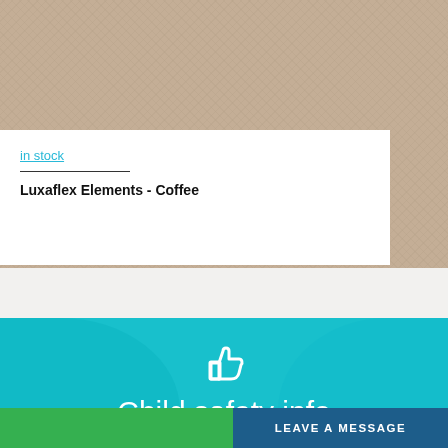[Figure (photo): Beige/tan textured fabric swatch filling the upper right portion of the card area]
in stock
Luxaflex Elements - Coffee
[Figure (photo): Teal-tinted background image of baby hands with thumbs-up icon overlay and 'Child safety info' text]
Child safety info
LEAVE A MESSAGE